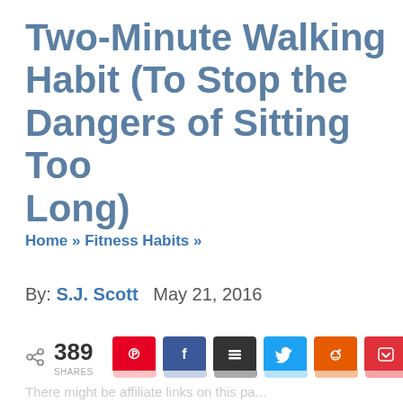Two-Minute Walking Habit (To Stop the Dangers of Sitting Too Long)
Home » Fitness Habits »
By: S.J. Scott   May 21, 2016
< 389 SHARES [social share buttons: Pinterest, Facebook, Buffer, Twitter, Reddit, Pocket]
There might be affiliate links on this pa...